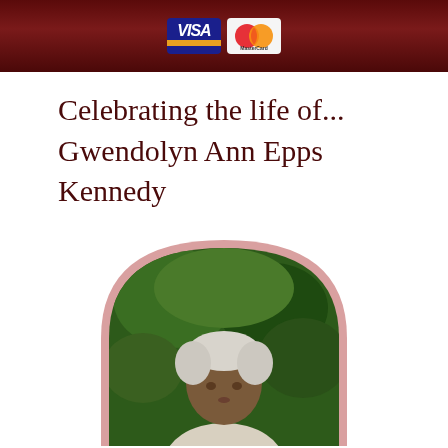[Figure (logo): Header bar with dark maroon/burgundy background containing Visa and MasterCard payment logos centered]
Celebrating the life of...
Gwendolyn Ann Epps Kennedy
[Figure (photo): Portrait photo of Gwendolyn Ann Epps Kennedy in an arch/oval-shaped frame with pink border, showing an elderly woman with white hair wearing a light-colored jacket, set against green foliage background]